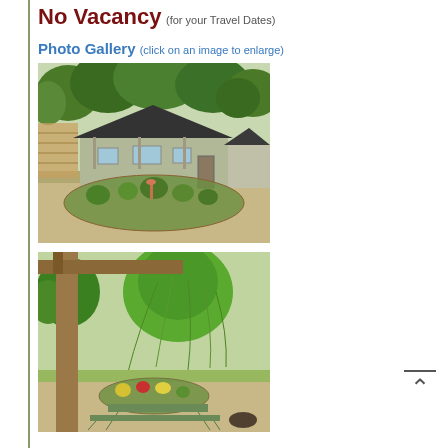No Vacancy (for your Travel Dates)
Photo Gallery (click on an image to enlarge)
[Figure (photo): Exterior photo of a small cabin or cottage with a dark roof, surrounded by a circular flower garden with rocks, gravel driveway, trees in background]
[Figure (photo): Outdoor area with a wooden pergola/arbor post in foreground, weeping willow or similar tree in background, green lawn, picnic table, gravel path, flower garden]